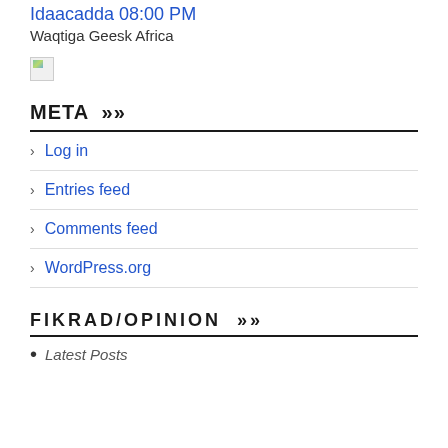Idaacadda 08:00 PM
Waqtiga Geesk Africa
[Figure (other): Small broken/placeholder image icon]
META »
Log in
Entries feed
Comments feed
WordPress.org
FIKRAD/OPINION »
Latest Posts